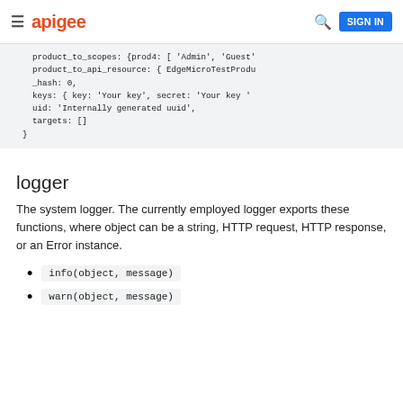apigee  SIGN IN
product_to_scopes: {prod4: [ 'Admin', 'Guest'
    product_to_api_resource: { EdgeMicroTestProdu
    _hash: 0,
    keys: { key: 'Your key', secret: 'Your key '
    uid: 'Internally generated uuid',
    targets: []
  }
logger
The system logger. The currently employed logger exports these functions, where object can be a string, HTTP request, HTTP response, or an Error instance.
info(object, message)
warn(object, message)